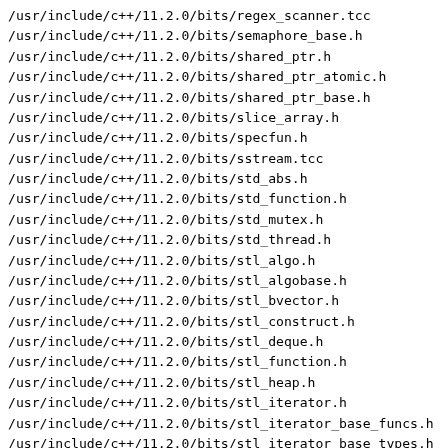/usr/include/c++/11.2.0/bits/regex_scanner.tcc
/usr/include/c++/11.2.0/bits/semaphore_base.h
/usr/include/c++/11.2.0/bits/shared_ptr.h
/usr/include/c++/11.2.0/bits/shared_ptr_atomic.h
/usr/include/c++/11.2.0/bits/shared_ptr_base.h
/usr/include/c++/11.2.0/bits/slice_array.h
/usr/include/c++/11.2.0/bits/specfun.h
/usr/include/c++/11.2.0/bits/sstream.tcc
/usr/include/c++/11.2.0/bits/std_abs.h
/usr/include/c++/11.2.0/bits/std_function.h
/usr/include/c++/11.2.0/bits/std_mutex.h
/usr/include/c++/11.2.0/bits/std_thread.h
/usr/include/c++/11.2.0/bits/stl_algo.h
/usr/include/c++/11.2.0/bits/stl_algobase.h
/usr/include/c++/11.2.0/bits/stl_bvector.h
/usr/include/c++/11.2.0/bits/stl_construct.h
/usr/include/c++/11.2.0/bits/stl_deque.h
/usr/include/c++/11.2.0/bits/stl_function.h
/usr/include/c++/11.2.0/bits/stl_heap.h
/usr/include/c++/11.2.0/bits/stl_iterator.h
/usr/include/c++/11.2.0/bits/stl_iterator_base_funcs.h
/usr/include/c++/11.2.0/bits/stl_iterator_base_types.h
/usr/include/c++/11.2.0/bits/stl_list.h
/usr/include/c++/11.2.0/bits/stl_map.h
/usr/include/c++/11.2.0/bits/stl_multimap.h
/usr/include/c++/11.2.0/bits/stl_multiset.h
/usr/include/c++/11.2.0/bits/stl_numeric.h
/usr/include/c++/11.2.0/bits/stl_pair.h
/usr/include/c++/11.2.0/bits/stl_queue.h
/usr/include/c++/11.2.0/bits/stl_raw_storage_iter.h